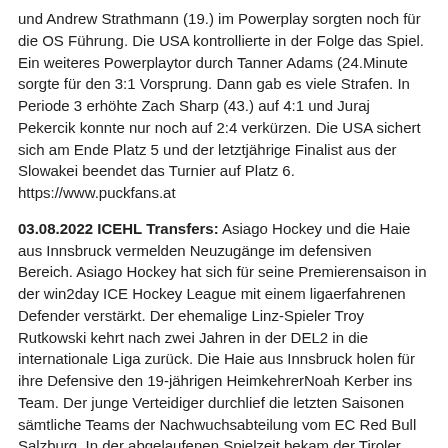und Andrew Strathmann (19.) im Powerplay sorgten noch für die OS Führung. Die USA kontrollierte in der Folge das Spiel. Ein weiteres Powerplaytor durch Tanner Adams (24.Minute sorgte für den 3:1 Vorsprung. Dann gab es viele Strafen. In Periode 3 erhöhte Zach Sharp (43.) auf 4:1 und Juraj Pekercik konnte nur noch auf 2:4 verkürzen. Die USA sichert sich am Ende Platz 5 und der letztjährige Finalist aus der Slowakei beendet das Turnier auf Platz 6. https://www.puckfans.at
03.08.2022 ICEHL Transfers: Asiago Hockey und die Haie aus Innsbruck vermelden Neuzugänge im defensiven Bereich. Asiago Hockey hat sich für seine Premierensaison in der win2day ICE Hockey League mit einem ligaerfahrenen Defender verstärkt. Der ehemalige Linz-Spieler Troy Rutkowski kehrt nach zwei Jahren in der DEL2 in die internationale Liga zurück. Die Haie aus Innsbruck holen für ihre Defensive den 19-jährigen HeimkehrerNoah Kerber ins Team. Der junge Verteidiger durchlief die letzten Saisonen sämtliche Teams der Nachwuchsabteilung vom EC Red Bull Salzburg. In der abgelaufenen Spielzeit bekam der Tiroler auch sieben Einsätze in der Alps Hockey League, schoss ein Tor.
01.08.2022 ICEHL Transfer: Die Black Wings Linz verstärken sich nochmals in der Verteidigung. Die Oberösterreicher verpflichteten dafür den 25-jährigen Tschechen Jakub Kubeš. Dieser erhielt erhielt vorerst einen Try Out Vertrag bis Ende September. Jakub Kubeš wird mit dabei hinzu desto. Montan die Markereiten auf dich hanns und